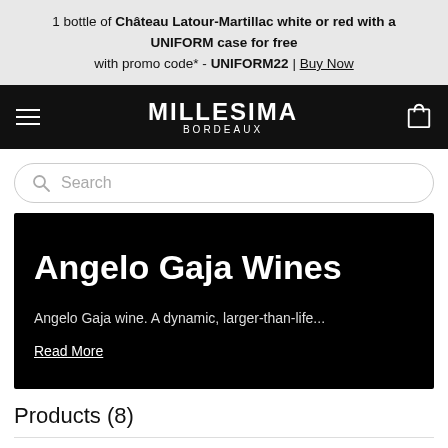1 bottle of Château Latour-Martillac white or red with a UNIFORM case for free with promo code* - UNIFORM22 | Buy Now
MILLESIMA BORDEAUX
[Figure (screenshot): Search input box with magnifying glass icon and placeholder text 'Search']
Angelo Gaja Wines
Angelo Gaja wine. A dynamic, larger-than-life...
Read More
Products (8)